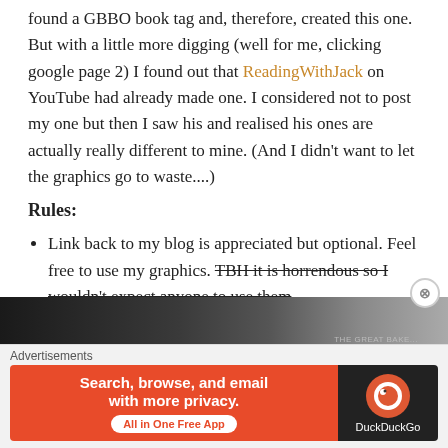found a GBBO book tag and, therefore, created this one. But with a little more digging (well for me, clicking google page 2) I found out that ReadingWithJack on YouTube had already made one. I considered not to post my one but then I saw his and realised his ones are actually really different to mine. (And I didn't want to let the graphics go to waste....)
Rules:
Link back to my blog is appreciated but optional. Feel free to use my graphics. TBH it is horrendous so I wouldn't expect anyone to use them
Tag people, don't tag people, whatever. Just have fun.
Ready, get set, Bake! (or tag)
[Figure (photo): A partially visible image strip at the bottom of the main content area]
Advertisements
[Figure (screenshot): DuckDuckGo advertisement banner: 'Search, browse, and email with more privacy. All in One Free App' on orange background with DuckDuckGo logo on dark background]